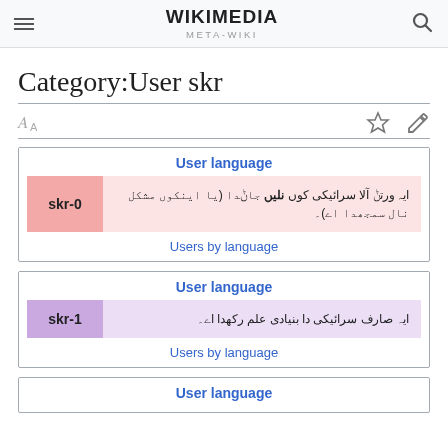WIKIMEDIA META-WIKI
Category:User skr
[Figure (infographic): User language box for skr-0: users who do not know Saraiki]
[Figure (infographic): User language box for skr-1: users with basic knowledge of Saraiki]
[Figure (infographic): User language box (partial, third box visible at bottom)]